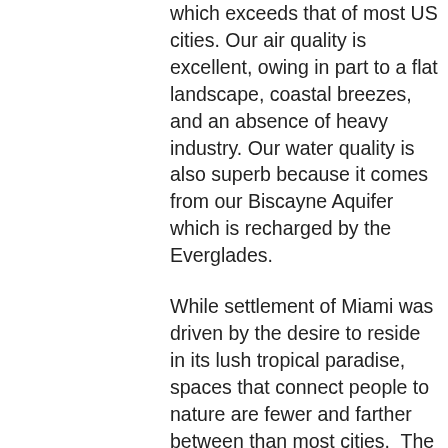which exceeds that of most US cities. Our air quality is excellent, owing in part to a flat landscape, coastal breezes, and an absence of heavy industry. Our water quality is also superb because it comes from our Biscayne Aquifer which is recharged by the Everglades.
While settlement of Miami was driven by the desire to reside in its lush tropical paradise, spaces that connect people to nature are fewer and farther between than most cities.  The result is a fundamental disconnect between the people of Miami and the pristine resources that surround them.  During dry spring days, we feel the effects of ozone spikes from car emissions which could be readily curbed by a more extensive public transit system and